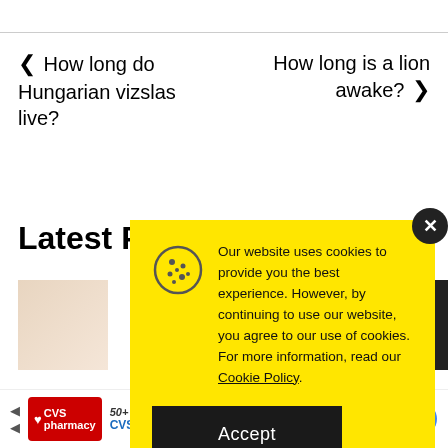❮ How long do Hungarian vizslas live?
How long is a lion awake? ❯
Latest Po…
[Figure (photo): Partial beige/tan colored photo thumbnail, partially obscured by cookie modal]
Our website uses cookies to provide you the best experience. However, by continuing to use our website, you agree to our use of cookies. For more information, read our Cookie Policy.
[Figure (illustration): Cookie icon (circle with dots)]
[Figure (other): Accept button (dark background, white text)]
[Figure (logo): CVS Pharmacy advertisement bar at bottom with CVS logo, ad text about Same Day Photo Products, and a diamond/directions icon]